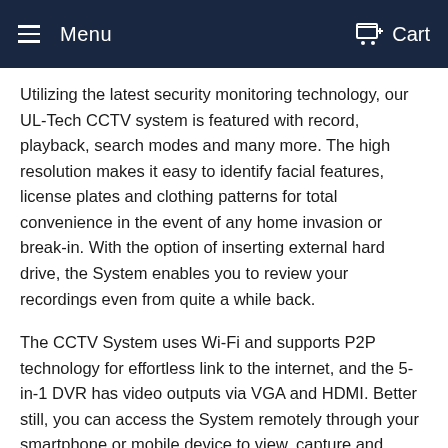Menu  Cart
Utilizing the latest security monitoring technology, our UL-Tech CCTV system is featured with record, playback, search modes and many more. The high resolution makes it easy to identify facial features, license plates and clothing patterns for total convenience in the event of any home invasion or break-in. With the option of inserting external hard drive, the System enables you to review your recordings even from quite a while back.
The CCTV System uses Wi-Fi and supports P2P technology for effortless link to the internet, and the 5-in-1 DVR has video outputs via VGA and HDMI. Better still, you can access the System remotely through your smartphone or mobile device to view, capture and record with the XMEye app and an instant email will be sent to your account if any unauthorized motion is detected. You can also customize the motion detection so that the camera will only be activated when motion is detected.
So come your next vacation or anytime that you?re not home,